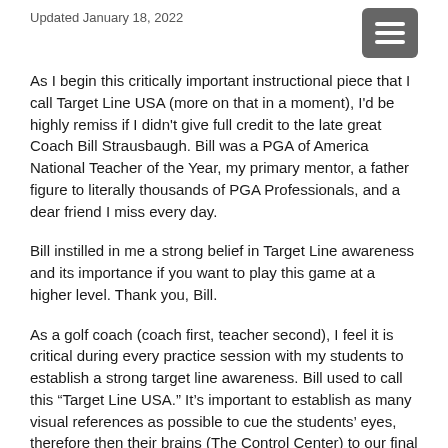Updated January 18, 2022
As I begin this critically important instructional piece that I call Target Line USA (more on that in a moment), I'd be highly remiss if I didn't give full credit to the late great Coach Bill Strausbaugh. Bill was a PGA of America National Teacher of the Year, my primary mentor, a father figure to literally thousands of PGA Professionals, and a dear friend I miss every day.
Bill instilled in me a strong belief in Target Line awareness and its importance if you want to play this game at a higher level. Thank you, Bill.
As a golf coach (coach first, teacher second), I feel it is critical during every practice session with my students to establish a strong target line awareness. Bill used to call this “Target Line USA.” It’s important to establish as many visual references as possible to cue the students’ eyes, therefore then their brains (The Control Center) to our final destination, the target. After